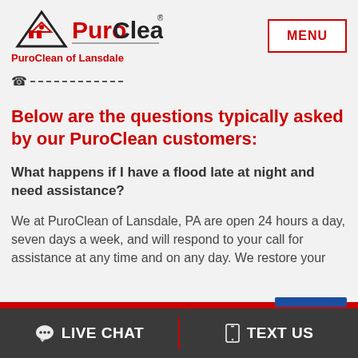[Figure (logo): PuroClean logo with triangle/house icon and Puro in red, Clean in black with registered mark]
PuroClean of Lansdale
[Figure (other): MENU button with red border]
[Figure (other): Phone number bar with phone icon and dashes]
Below are the questions typically asked by our PuroClean customers:
What happens if I have a flood late at night and need assistance?
We at PuroClean of Lansdale, PA are open 24 hours a day, seven days a week, and will respond to your call for assistance at any time and on any day. We restore your
LIVE CHAT   TEXT US